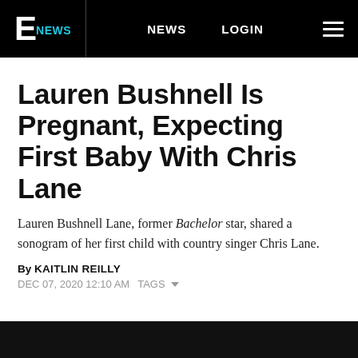E NEWS  NEWS  LOGIN
Lauren Bushnell Is Pregnant, Expecting First Baby With Chris Lane
Lauren Bushnell Lane, former Bachelor star, shared a sonogram of her first child with country singer Chris Lane.
By KAITLIN REILLY
DEC 07, 2020 12:10 AM  TAGS
[Figure (photo): Black image area at bottom of page]